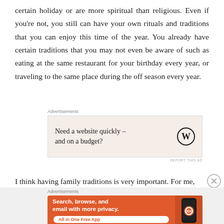certain holiday or are more spiritual than religious. Even if you're not, you still can have your own rituals and traditions that you can enjoy this time of the year. You already have certain traditions that you may not even be aware of such as eating at the same restaurant for your birthday every year, or traveling to the same place during the off season every year.
[Figure (other): WordPress advertisement banner: 'Need a website quickly – and on a budget?' with WordPress logo on beige background]
I think having family traditions is very important. For me, it
[Figure (other): DuckDuckGo advertisement: 'Search, browse, and email with more privacy. All in One Free App' with phone graphic on orange background]